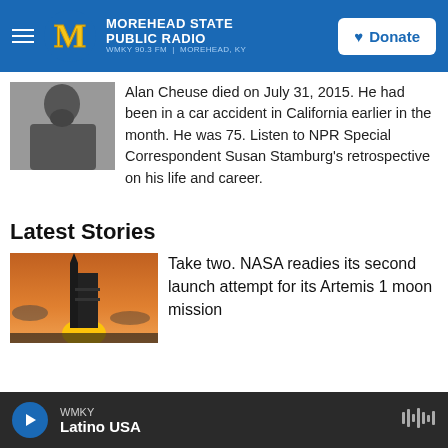Morehead State Public Radio WMKY 90.3 FM | Morehead, KY | Donate
[Figure (photo): Black and white photo of an older man with a beard, looking to the side]
Alan Cheuse died on July 31, 2015. He had been in a car accident in California earlier in the month. He was 75. Listen to NPR Special Correspondent Susan Stamburg's retrospective on his life and career.
Latest Stories
[Figure (photo): Photo of a rocket launch pad silhouetted against a warm orange sunset sky]
Take two. NASA readies its second launch attempt for its Artemis 1 moon mission
WMKY | Latino USA